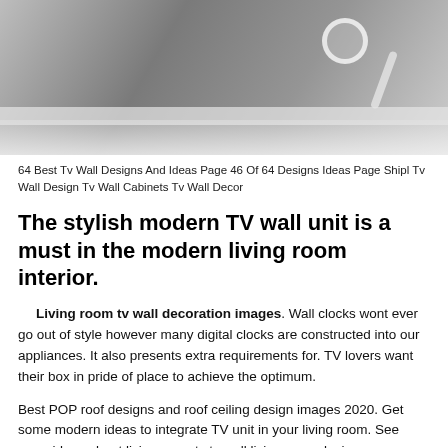[Figure (photo): A wall-mounted TV or bracket installation with white components against a gray tiled wall, partial view from above.]
64 Best Tv Wall Designs And Ideas Page 46 Of 64 Designs Ideas Page Shipl Tv Wall Design Tv Wall Cabinets Tv Wall Decor
The stylish modern TV wall unit is a must in the modern living room interior.
Living room tv wall decoration images. Wall clocks wont ever go out of style however many digital clocks are constructed into our appliances. It also presents extra requirements for. TV lovers want their box in pride of place to achieve the optimum.
Best POP roof designs and roof ceiling design images 2020. Get some modern ideas to integrate TV unit in your living room. See more ideas about living room tv tv wall living room designs.